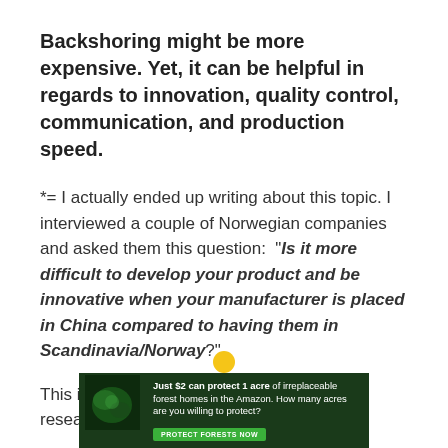Backshoring might be more expensive. Yet, it can be helpful in regards to innovation, quality control, communication, and production speed.
*= I actually ended up writing about this topic. I interviewed a couple of Norwegian companies and asked them this question: "Is it more difficult to develop your product and be innovative when your manufacturer is placed in China compared to having them in Scandinavia/Norway?".
This is an interesting topic that should be researched
[Figure (other): Advertisement banner: 'Just $2 can protect 1 acre of irreplaceable forest homes in the Amazon. How many acres are you willing to protect?' with a green 'PROTECT FORESTS NOW' button and a forest/nature background image with a yellow circle element.]